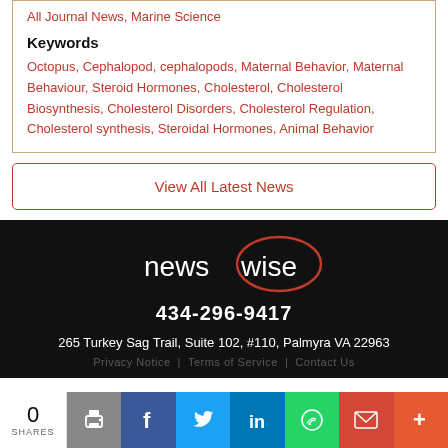All Journal News, Marine Science
Keywords
Octopus, Cephalopod, cephalopods, Maternal Behavior, Maternal Behaviour, Steroid Hormones, Cholesterol, Cholesterol Biosynthesis, Cholesterol Disorders, Cholesterol Regulation, Cholesterol synthesis, Steroidal Hormones, Animal Behavior
View All Latest News
[Figure (logo): Newswise logo in white text with 'wise' in a red circle, on black background]
434-296-9417
265 Turkey Sag Trail, Suite 102, #110, Palmyra VA 22963
0 SHARES — share bar with print, facebook, twitter, linkedin, whatsapp, gmail, more icons